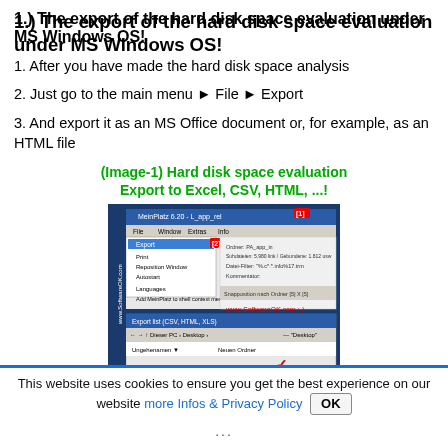1.) The export of the hard disk space evaluation under MS Windows OS!
1. After you have made the hard disk space analysis
2. Just go to the main menu ► File ► Export
3. And export it as an MS Office document or, for example, as an HTML file
(Image-1) Hard disk space evaluation Export to Excel, CSV, HTML, ...!
[Figure (screenshot): Screenshot of a Windows application showing a file menu open with Export option highlighted, and a file save dialog below it. The application is MeinPlatz. Red annotations [1] and [2] point to menu items.]
This website uses cookies to ensure you get the best experience on our website more Infos & Privacy Policy  OK